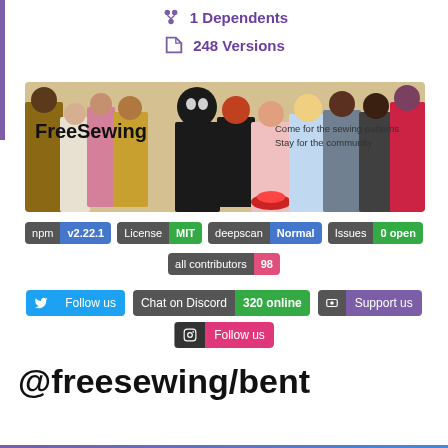1 Dependents
248 Versions
[Figure (illustration): FreeSewing banner image with illustrated characters and tagline: Come for the sewing patterns, Stay for the community]
[Figure (infographic): Badge row: npm v2.22.1 | License MIT | deepscan Normal | Issues 0 open]
[Figure (infographic): Badge: all contributors 98]
[Figure (infographic): Social buttons: Follow us (Twitter), Chat on Discord 320 online, Support us, Follow us (Instagram)]
@freesewing/bent